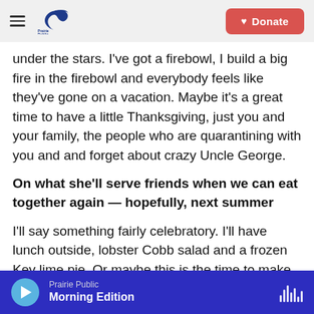Prairie Public | Donate
under the stars. I've got a firebowl, I build a big fire in the firebowl and everybody feels like they've gone on a vacation. Maybe it's a great time to have a little Thanksgiving, just you and your family, the people who are quarantining with you and and forget about crazy Uncle George.
On what she'll serve friends when we can eat together again — hopefully, next summer
I'll say something fairly celebratory. I'll have lunch outside, lobster Cobb salad and a frozen Key lime pie. Or maybe this is the time to make the Boston
Prairie Public — Morning Edition